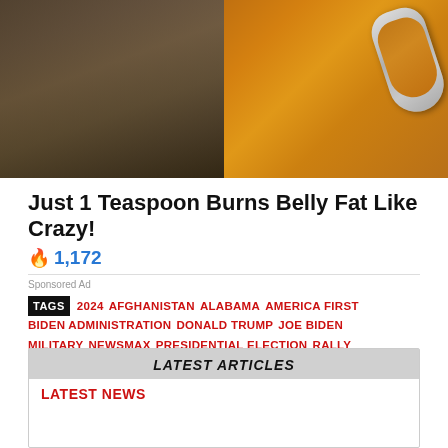[Figure (photo): Split image: left side shows a muscular person with visible abs lifting their shirt; right side shows a large spoonful of orange/brown spice powder on a dark background]
Just 1 Teaspoon Burns Belly Fat Like Crazy!
🔥 1,172
Sponsored Ad
TAGS  2024  AFGHANISTAN  ALABAMA  AMERICA FIRST  BIDEN ADMINISTRATION  DONALD TRUMP  JOE BIDEN  MILITARY  NEWSMAX  PRESIDENTIAL ELECTION  RALLY  RUMBLE  TALIBAN  WHITE HOUSE
LATEST ARTICLES
LATEST NEWS